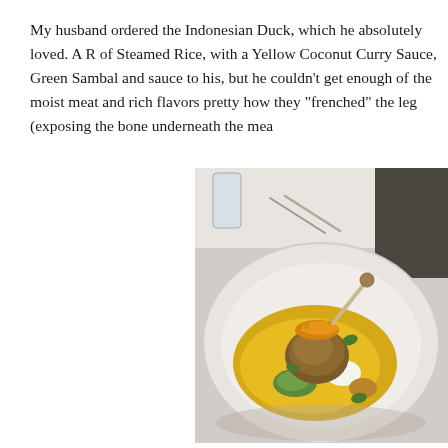My husband ordered the Indonesian Duck, which he absolutely loved. A R of Steamed Rice, with a Yellow Coconut Curry Sauce, Green Sambal and sauce to his, but he couldn't get enough of the moist meat and rich flavors pretty how they "frenched" the leg (exposing the bone underneath the mea
[Figure (photo): A plated Indonesian Duck dish served in a wide white bowl. The duck leg is frenched (bone exposed), placed on a bed of yellow coconut curry sauce, green sambal, white rice, and garnished with orange shredded toppings, breadcrumbs, and fresh herbs. Silverware and a glass are visible in the background on a white tablecloth.]